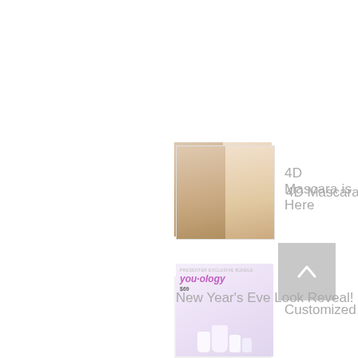[Figure (photo): Two side-by-side before/after face photos showing mascara effect]
4D Mascara is Here
[Figure (photo): you-ology customized skincare bundle promotional image showing products and $69 price]
Customized Skincare is HERE!
New Year's Eve Look Reveal!
[Figure (illustration): Back to top arrow button in light grey]